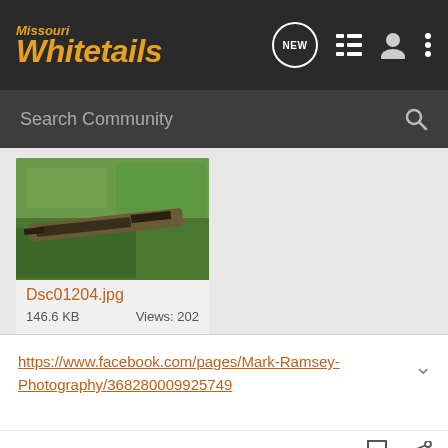Missouri Whitetails
Search Community
[Figure (photo): Photo thumbnail of a rifle/crossbow lying on green grass, labeled Dsc01204.jpg, 146.6 KB, Views: 202]
Dsc01204.jpg
146.6 KB      Views: 202
https://www.facebook.com/pages/Mark-Ramsey-Photography/368280009925749
[Figure (screenshot): Cabela's advertisement banner: HIGHEST-RATED GEAR with star rating 4.9 and product image with play button]